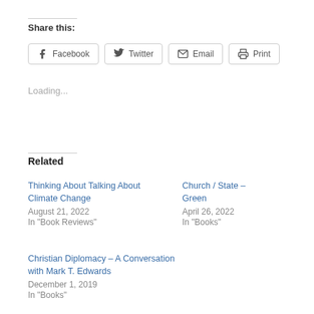Share this:
Facebook | Twitter | Email | Print
Loading...
Related
Thinking About Talking About Climate Change
August 21, 2022
In "Book Reviews"
Church / State –
Green
April 26, 2022
In "Books"
Christian Diplomacy – A Conversation with Mark T. Edwards
December 1, 2019
In "Books"